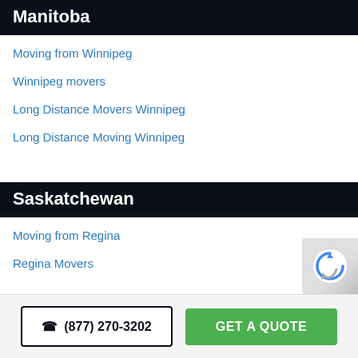Manitoba
Moving from Winnipeg
Winnipeg movers
Long Distance Movers Winnipeg
Long Distance Moving Winnipeg
Saskatchewan
Moving from Regina
Regina Movers
☎ (877) 270-3202  GET A QUOTE